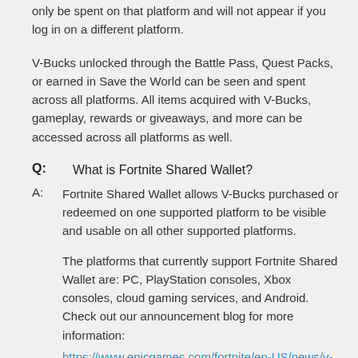only be spent on that platform and will not appear if you log in on a different platform.
V-Bucks unlocked through the Battle Pass, Quest Packs, or earned in Save the World can be seen and spent across all platforms. All items acquired with V-Bucks, gameplay, rewards or giveaways, and more can be accessed across all platforms as well.
Q: What is Fortnite Shared Wallet?
A: Fortnite Shared Wallet allows V-Bucks purchased or redeemed on one supported platform to be visible and usable on all other supported platforms.
The platforms that currently support Fortnite Shared Wallet are: PC, PlayStation consoles, Xbox consoles, cloud gaming services, and Android. Check out our announcement blog for more information:
https://www.epicgames.com/fortnite/en-US/news/v-